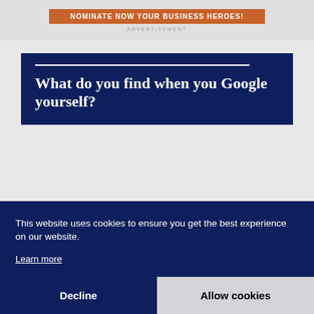[Figure (other): Orange button with text 'NOMINATE NOW YOUR BUSINESS HEROES!' on a light gray background, with 'ADVERTISEMENT' label below]
What do you find when you Google yourself?
This website uses cookies to ensure you get the best experience on our website.
Learn more
Decline
Allow cookies